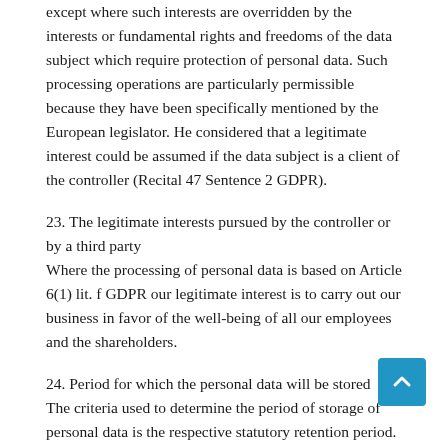except where such interests are overridden by the interests or fundamental rights and freedoms of the data subject which require protection of personal data. Such processing operations are particularly permissible because they have been specifically mentioned by the European legislator. He considered that a legitimate interest could be assumed if the data subject is a client of the controller (Recital 47 Sentence 2 GDPR).
23. The legitimate interests pursued by the controller or by a third party
Where the processing of personal data is based on Article 6(1) lit. f GDPR our legitimate interest is to carry out our business in favor of the well-being of all our employees and the shareholders.
24. Period for which the personal data will be stored
The criteria used to determine the period of storage of personal data is the respective statutory retention period. After expiration of that period, the corresponding data is